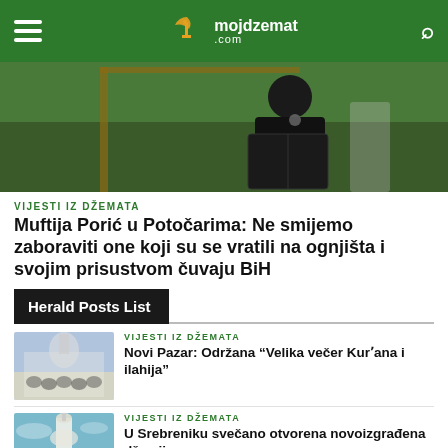mojdzemat.com
[Figure (photo): Person in dark clothing reading from a black book or folder, outdoors with green background]
VIJESTI IZ DŽEMATA
Muftija Porić u Potočarima: Ne smijemo zaboraviti one koji su se vratili na ognjišta i svojim prisustvom čuvaju BiH
Herald Posts List
[Figure (photo): Crowd gathered outside a mosque]
VIJESTI IZ DŽEMATA
Novi Pazar: Održana "Velika večer Kur'ana i ilahija"
[Figure (photo): Minaret of a mosque with surrounding buildings]
VIJESTI IZ DŽEMATA
U Srebreniku svečano otvorena novoizgrađena džamija